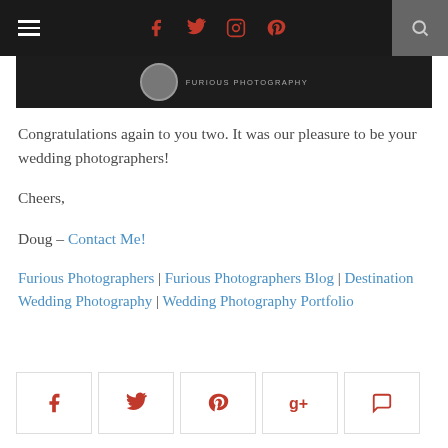Navigation bar with hamburger menu, social icons (Facebook, Twitter, Instagram, Pinterest), and search icon
[Figure (screenshot): Dark banner image strip showing a circular logo and small text]
Congratulations again to you two. It was our pleasure to be your wedding photographers!
Cheers,
Doug – Contact Me!
Furious Photographers | Furious Photographers Blog | Destination Wedding Photography | Wedding Photography Portfolio
[Figure (infographic): Row of social share buttons: Facebook, Twitter, Pinterest, Google+, Comment]